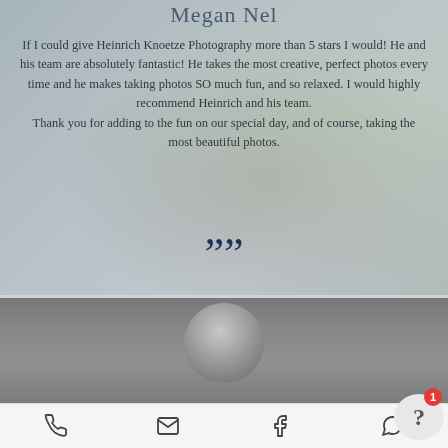Megan Nel
If I could give Heinrich Knoetze Photography more than 5 stars I would! He and his team are absolutely fantastic! He takes the most creative, perfect photos every time and he makes taking photos SO much fun, and so relaxed. I would highly recommend Heinrich and his team.
Thank you for adding to the fun on our special day, and of course, taking the most beautiful photos.
[Figure (photo): Grayscale circular portrait photo of a person, bottom half of page showing dark background]
[Figure (other): Mobile website footer navigation bar with phone, email, Facebook, and WhatsApp icons, plus a chat bubble with question mark and red notification badge showing '1']